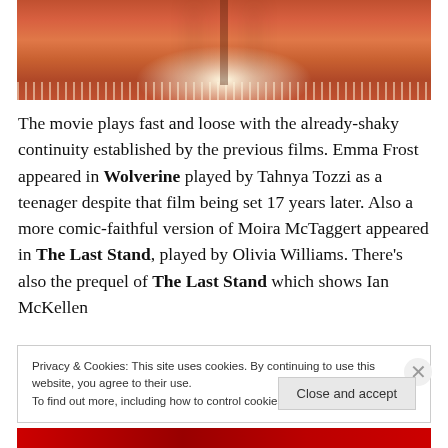[Figure (photo): A theatrical or cinematic scene showing a figure standing amidst flames and lights on a stage or set, with warm orange and red tones.]
The movie plays fast and loose with the already-shaky continuity established by the previous films. Emma Frost appeared in Wolverine played by Tahnya Tozzi as a teenager despite that film being set 17 years later. Also a more comic-faithful version of Moira McTaggert appeared in The Last Stand, played by Olivia Williams. There's also the prequel of The Last Stand which shows Ian McKellen...
Privacy & Cookies: This site uses cookies. By continuing to use this website, you agree to their use.
To find out more, including how to control cookies, see here: Cookie Policy
[Figure (photo): Partial image visible at bottom of page, appears to be a movie scene with red tones.]